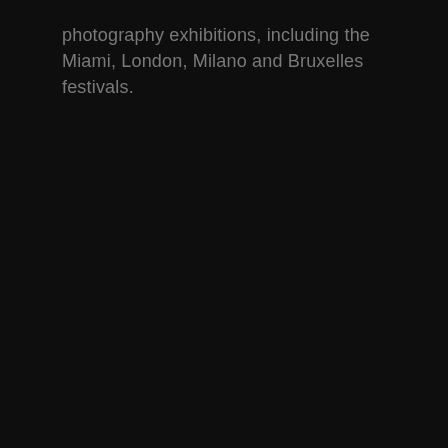photography exhibitions, including the Miami, London, Milano and Bruxelles festivals.